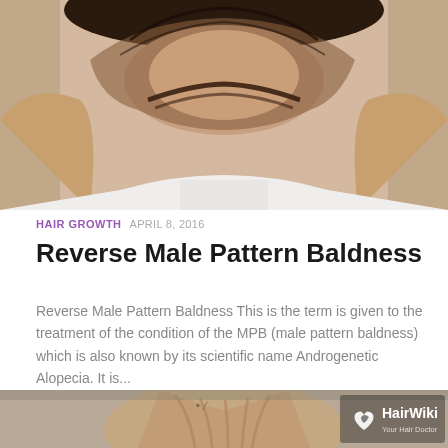[Figure (photo): Close-up photo of a man's head showing male pattern baldness at the top, with hands raised behind the head. He is wearing a white shirt.]
HAIR GROWTH  APRIL 8, 2016
Reverse Male Pattern Baldness
Reverse Male Pattern Baldness This is the term is given to the treatment of the condition of the MPB (male pattern baldness) which is also known by its scientific name Androgenetic Alopecia. It is...
[Figure (photo): Partial photo of a person with hands raised to the back of the neck/head area, with a HairWiki Your Hair Doctor logo overlay in the bottom right corner.]